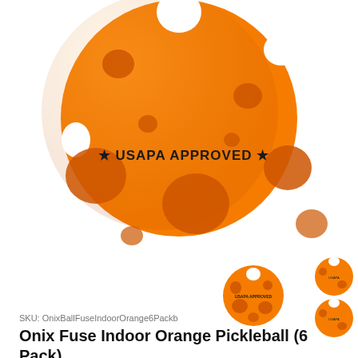[Figure (photo): Close-up photo of a bright orange pickleball with multiple holes, stamped with '★ USAPA APPROVED ★' text on its surface]
[Figure (photo): Thumbnail of a single orange pickleball viewed from the front]
[Figure (photo): Thumbnail showing a grid of 6 orange pickleballs arranged in 2 rows of 3]
SKU: OnixBallFuseIndoorOrange6Packb
Onix Fuse Indoor Orange Pickleball (6 Pack)